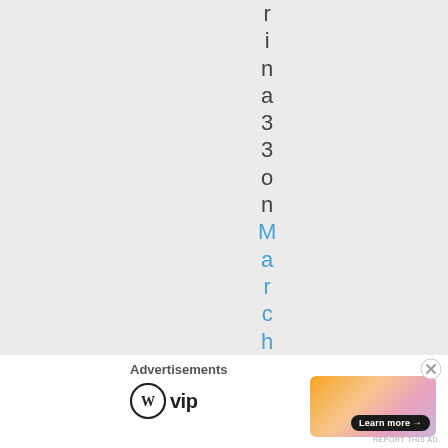r i n a 3 3 o n March 7,
Advertisements
[Figure (logo): WordPress VIP logo]
[Figure (illustration): Advertisement banner with gradient background and Learn more button]